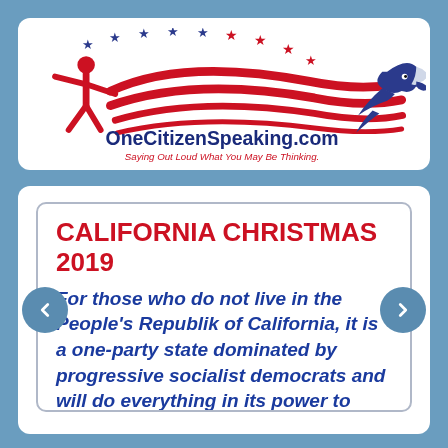[Figure (logo): OneCitizenSpeaking.com logo with a red figure, swooping red/white stripes, stars across the top, and a blue eagle on the right. Tagline: 'Saying Out Loud What You May Be Thinking.']
CALIFORNIA CHRISTMAS 2019
For those who do not live in the People's Republik of California, it is a one-party state dominated by progressive socialist democrats and will do everything in its power to